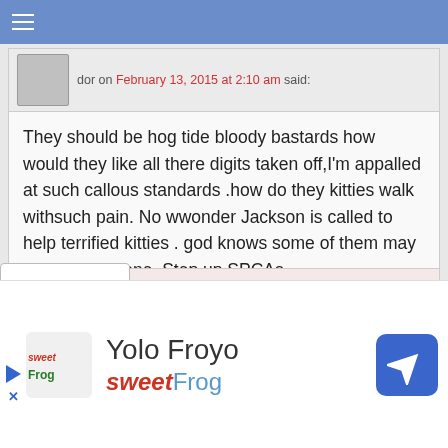☰ (menu bar)
dor on February 13, 2015 at 2:10 am said:
They should be hog tide bloody bastards how would they like all there digits taken off,I'm appalled at such callous standards .how do they kitties walk withsuch pain. No wwonder Jackson is called to help terrified kitties . god knows some of them may have had it done. Step up SPCAs
Reply ↓
Michael Broad on February 13, 2015 at 6:52 am said:
I feel like you. It is a terrible indictment of the training vets receive. It is a culture thing. They just don't think it is unethical to declaw cats.
Yolo Froyo
sweetFrog